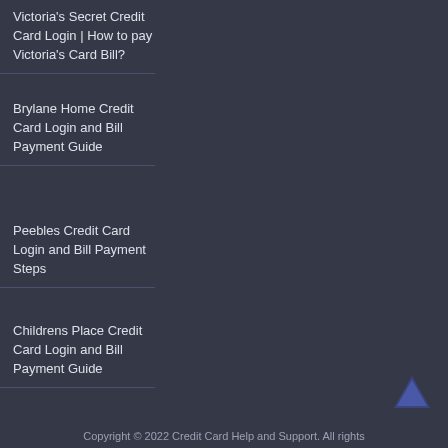Victoria's Secret Credit Card Login | How to pay Victoria's Card Bill?
Brylane Home Credit Card Login and Bill Payment Guide
Peebles Credit Card Login and Bill Payment Steps
Childrens Place Credit Card Login and Bill Payment Guide
Copyright © 2022 Credit Card Help and Support. All rights